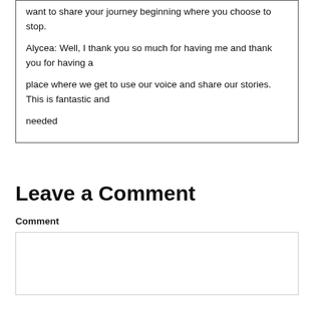want to share your journey beginning where you choose to stop.

Alycea: Well, I thank you so much for having me and thank you for having a

place where we get to use our voice and share our stories. This is fantastic and

needed
Leave a Comment
Comment
[Figure (other): Empty comment text area input box]